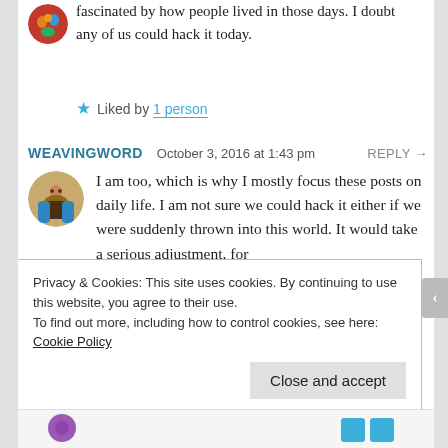fascinated by how people lived in those days. I doubt any of us could hack it today.
Liked by 1 person
WEAVINGWORD  October 3, 2016 at 1:43 pm  REPLY →
I am too, which is why I mostly focus these posts on daily life. I am not sure we could hack it either if we were suddenly thrown into this world. It would take a serious adjustment, for
Privacy & Cookies: This site uses cookies. By continuing to use this website, you agree to their use.
To find out more, including how to control cookies, see here: Cookie Policy
Close and accept